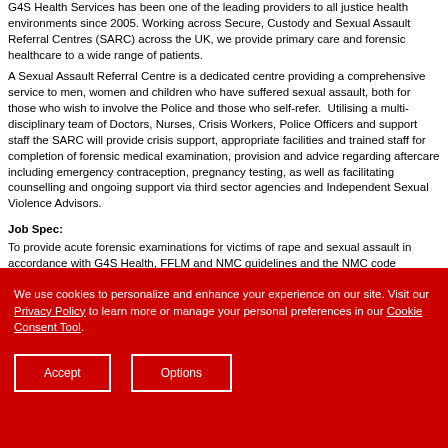G4S Health Services has been one of the leading providers to all justice health environments since 2005. Working across Secure, Custody and Sexual Assault Referral Centres (SARC) across the UK, we provide primary care and forensic healthcare to a wide range of patients. A Sexual Assault Referral Centre is a dedicated centre providing a comprehensive service to men, women and children who have suffered sexual assault, both for those who wish to involve the Police and those who self-refer. Utilising a multi-disciplinary team of Doctors, Nurses, Crisis Workers, Police Officers and support staff the SARC will provide crisis support, appropriate facilities and trained staff for completion of forensic medical examination, provision and advice regarding aftercare including emergency contraception, pregnancy testing, as well as facilitating counselling and ongoing support via third sector agencies and Independent Sexual Violence Advisors.
Job Spec:
To provide acute forensic examinations for victims of rape and sexual assault in accordance with G4S Health, FFLM and NMC guidelines and the NMC code conduct. To assist in the management of the SARC
We use cookies to personalize and enhance your experience on our site. Visit our Privacy Policy to learn more or manage your personal preferences in our Cookie Consent Tool.